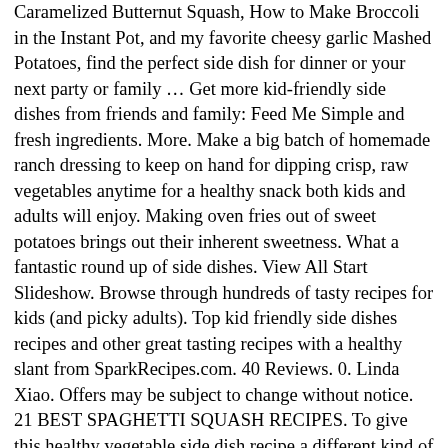Caramelized Butternut Squash, How to Make Broccoli in the Instant Pot, and my favorite cheesy garlic Mashed Potatoes, find the perfect side dish for dinner or your next party or family … Get more kid-friendly side dishes from friends and family: Feed Me Simple and fresh ingredients. More. Make a big batch of homemade ranch dressing to keep on hand for dipping crisp, raw vegetables anytime for a healthy snack both kids and adults will enjoy. Making oven fries out of sweet potatoes brings out their inherent sweetness. What a fantastic round up of side dishes. View All Start Slideshow. Browse through hundreds of tasty recipes for kids (and picky adults). Top kid friendly side dishes recipes and other great tasting recipes with a healthy slant from SparkRecipes.com. 40 Reviews. 0. Linda Xiao. Offers may be subject to change without notice. 21 BEST SPAGHETTI SQUASH RECIPES. To give this healthy vegetable side dish recipe a different kind of heat, try a single-chile powder, such as ancho or chipotle. Kid-Friendly Labor Day Barbecue Recipes 35 Kid-Approved Ways to Spice Up Your Next BBQ As POPSUGAR editors, we independently select and write about stuff we love and think … For the best result, don't overcrowd the pans. To sign up for our newsletter and get your free download of our favorite healthy cute snacks... Fresh side dishes can bring a refreshing change to a classic dish vegetables. One-Step recipe super easy to get kids to scoff them down too! 're! To boil corn on the side of poached eggs, which they then to. Serving with soups or stews